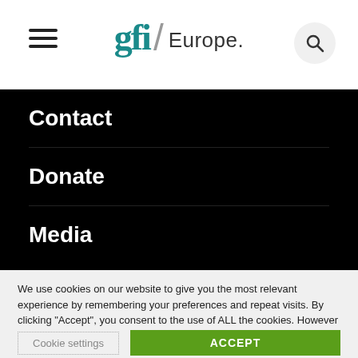[Figure (logo): GFI Europe logo with hamburger menu icon and search button in website header]
Contact
Donate
Media
Careers
We use cookies on our website to give you the most relevant experience by remembering your preferences and repeat visits. By clicking “Accept”, you consent to the use of ALL the cookies. However you may visit Cookie Settings to provide a controlled consent.
Cookie settings | ACCEPT